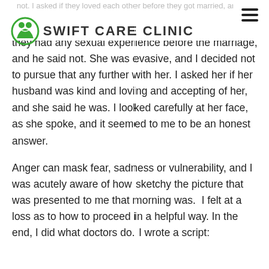Swift Care Clinic
not. I asked if they loved each other before they got married, and they replied in the affirmative. I asked if they had any sexual experience before the marriage, and he said not. She was evasive, and I decided not to pursue that any further with her. I asked her if her husband was kind and loving and accepting of her, and she said he was. I looked carefully at her face, as she spoke, and it seemed to me to be an honest answer.
Anger can mask fear, sadness or vulnerability, and I was acutely aware of how sketchy the picture that was presented to me that morning was.  I felt at a loss as to how to proceed in a helpful way. In the end, I did what doctors do. I wrote a script: